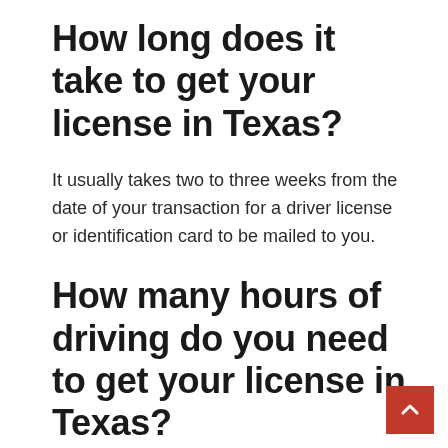How long does it take to get your license in Texas?
It usually takes two to three weeks from the date of your transaction for a driver license or identification card to be mailed to you.
How many hours of driving do you need to get your license in Texas?
Learn Teen Licensing Process Texas law requires teens to complete a 32 hour theory